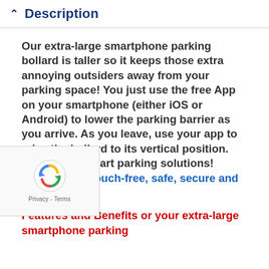Description
Our extra-large smartphone parking bollard is taller so it keeps those extra annoying outsiders away from your parking space! You just use the free App on your smartphone (either iOS or Android) to lower the parking barrier as you arrive. As you leave, use your app to raise the bollard to its vertical position. Simple and smart parking solutions! Contactless, touch-free, safe, secure and hygienic.
Features and Benefits or your extra-large smartphone parking